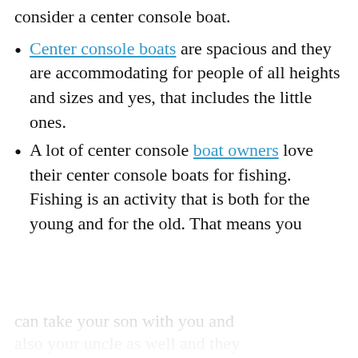consider a center console boat.
Center console boats are spacious and they are accommodating for people of all heights and sizes and yes, that includes the little ones.
A lot of center console boat owners love their center console boats for fishing. Fishing is an activity that is both for the young and for the old. That means you can take your son with you and also your uncle as well and they